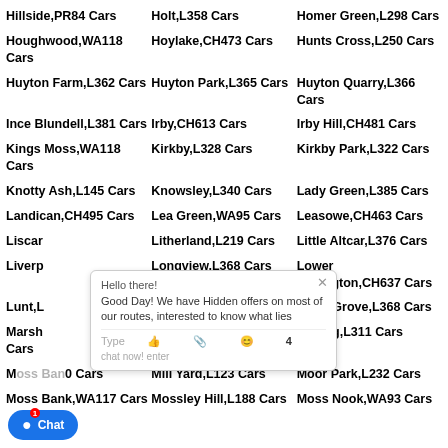Hillside,PR84 Cars
Holt,L358 Cars
Homer Green,L298 Cars
Houghwood,WA118 Cars
Hoylake,CH473 Cars
Hunts Cross,L250 Cars
Huyton Farm,L362 Cars
Huyton Park,L365 Cars
Huyton Quarry,L366 Cars
Ince Blundell,L381 Cars
Irby,CH613 Cars
Irby Hill,CH481 Cars
Kings Moss,WA118 Cars
Kirkby,L328 Cars
Kirkby Park,L322 Cars
Knotty Ash,L145 Cars
Knowsley,L340 Cars
Lady Green,L385 Cars
Landican,CH495 Cars
Lea Green,WA95 Cars
Leasowe,CH463 Cars
Liscar...
Litherland,L219 Cars
Little Altcar,L376 Cars
Liverp...
Longview,L368 Cars
Lower Bebington,CH637 Cars
Lunt,L...
Lydiate,L314 Cars
Lyme Grove,L368 Cars
Marsh... Cars
Marshside,PR99 Cars
Melling,L311 Cars
M...0 Cars
Mill Yard,L123 Cars
Moor Park,L232 Cars
Moss Bank,WA117 Cars
Mossley Hill,L188 Cars
Moss Nook,WA93 Cars